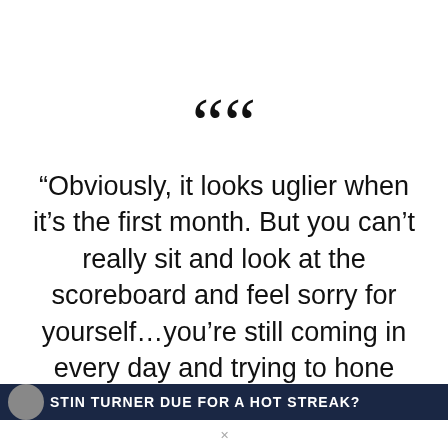““
“Obviously, it looks uglier when it’s the first month. But you can’t really sit and look at the scoreboard and feel sorry for yourself…you’re still coming in every day and trying to hone things in.”
STIN TURNER DUE FOR A HOT STREAK?